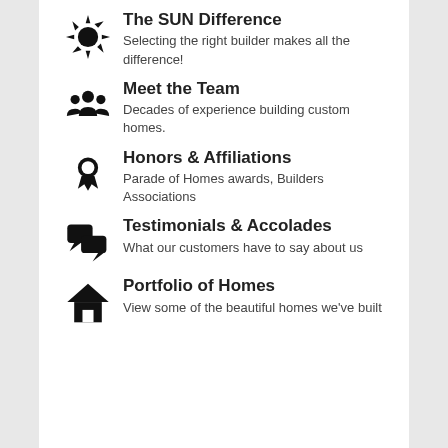The SUN Difference
Selecting the right builder makes all the difference!
Meet the Team
Decades of experience building custom homes.
Honors & Affiliations
Parade of Homes awards, Builders Associations
Testimonials & Accolades
What our customers have to say about us
Portfolio of Homes
View some of the beautiful homes we've built